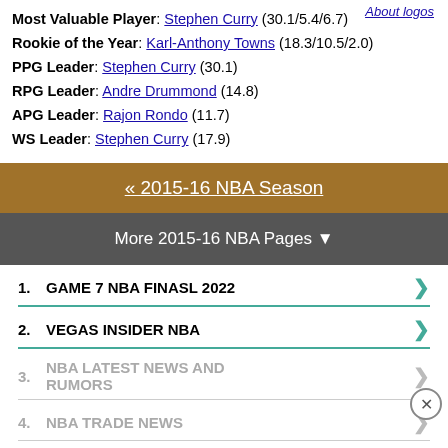Most Valuable Player: Stephen Curry (30.1/5.4/6.7)
Rookie of the Year: Karl-Anthony Towns (18.3/10.5/2.0)
PPG Leader: Stephen Curry (30.1)
RPG Leader: Andre Drummond (14.8)
APG Leader: Rajon Rondo (11.7)
WS Leader: Stephen Curry (17.9)
About logos
« 2015-16 NBA Season
More 2015-16 NBA Pages ▼
1. GAME 7 NBA FINASL 2022
2. VEGAS INSIDER NBA
3. NBA LATEST NEWS AND RUMORS
4. NBA TRADE NEWS
5. OFFICIAL NBA BASKETBALL